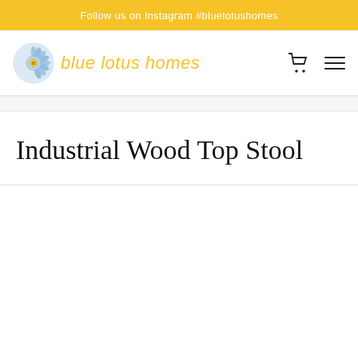Follow us on Instagram #bluelotushomes
[Figure (logo): Blue Lotus Homes logo with decorative circular mandala icon and italic text 'blue lotus homes' in gold/yellow color]
Industrial Wood Top Stool
[Figure (photo): Large white/empty product image area below the title]